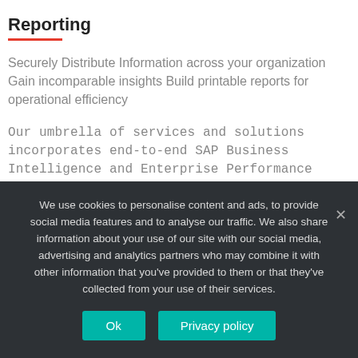Reporting
Securely Distribute Information across your organization Gain incomparable insights Build printable reports for operational efficiency
Our umbrella of services and solutions incorporates end-to-end SAP Business Intelligence and Enterprise Performance Management solutions.
Services include :
We use cookies to personalise content and ads, to provide social media features and to analyse our traffic. We also share information about your use of our site with our social media, advertising and analytics partners who may combine it with other information that you've provided to them or that they've collected from your use of their services.